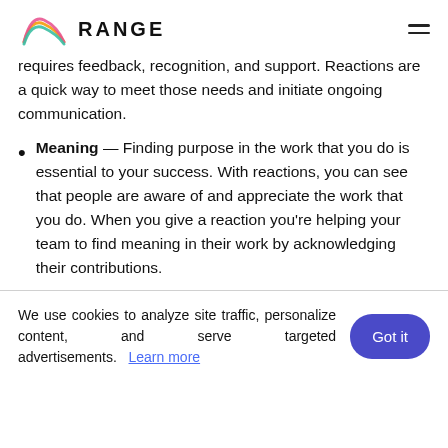RANGE
requires feedback, recognition, and support. Reactions are a quick way to meet those needs and initiate ongoing communication.
Meaning — Finding purpose in the work that you do is essential to your success. With reactions, you can see that people are aware of and appreciate the work that you do. When you give a reaction you're helping your team to find meaning in their work by acknowledging their contributions.
We use cookies to analyze site traffic, personalize content, and serve targeted advertisements.    Learn more